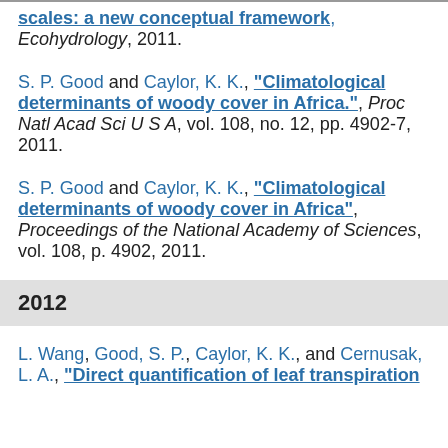scales: a new conceptual framework", Ecohydrology, 2011.
S. P. Good and Caylor, K. K., "Climatological determinants of woody cover in Africa.", Proc Natl Acad Sci U S A, vol. 108, no. 12, pp. 4902-7, 2011.
S. P. Good and Caylor, K. K., "Climatological determinants of woody cover in Africa", Proceedings of the National Academy of Sciences, vol. 108, p. 4902, 2011.
2012
L. Wang, Good, S. P., Caylor, K. K., and Cernusak, L. A., "Direct quantification of leaf transpiration